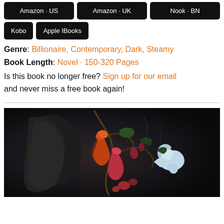Amazon - US
Amazon - UK
Nook - BN
Kobo
Apple IBooks
Genre: Billionaire, Contemporary, Dark, Steamy
Book Length: Novel - 150-320 Pages
Is this book no longer free? Sign up for our email and never miss a free book again!
[Figure (illustration): Dark artistic book cover featuring a shadowed face profile with ornate botanical flowers (tropical blooms in red, orange, pink, and blue) arranged across the figure against a dark background.]